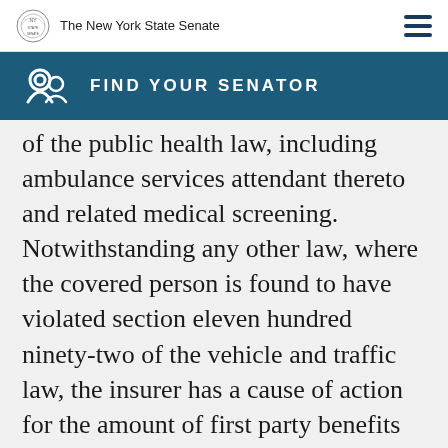The New York State Senate
FIND YOUR SENATOR
of the public health law, including ambulance services attendant thereto and related medical screening. Notwithstanding any other law, where the covered person is found to have violated section eleven hundred ninety-two of the vehicle and traffic law, the insurer has a cause of action for the amount of first party benefits paid or payable on behalf of such covered person against such covered person.